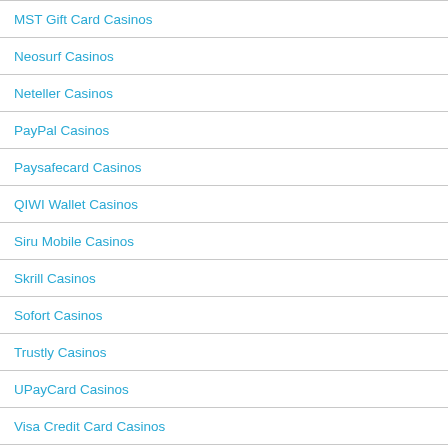MST Gift Card Casinos
Neosurf Casinos
Neteller Casinos
PayPal Casinos
Paysafecard Casinos
QIWI Wallet Casinos
Siru Mobile Casinos
Skrill Casinos
Sofort Casinos
Trustly Casinos
UPayCard Casinos
Visa Credit Card Casinos
Visa Debit Card Casinos